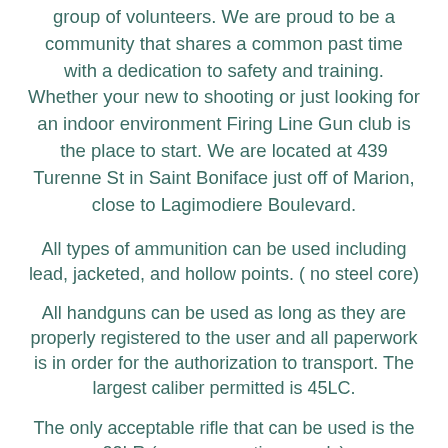group of volunteers. We are proud to be a community that shares a common past time with a dedication to safety and training. Whether your new to shooting or just looking for an indoor environment Firing Line Gun club is the place to start. We are located at 439 Turenne St in Saint Boniface just off of Marion, close to Lagimodiere Boulevard.
All types of ammunition can be used including lead, jacketed, and hollow points. ( no steel core)
All handguns can be used as long as they are properly registered to the user and all paperwork is in order for the authorization to transport. The largest caliber permitted is 45LC.
The only acceptable rifle that can be used is the 22LR (some exceptions apply)
*Rifles chambered in a pistol caliber with target loads are